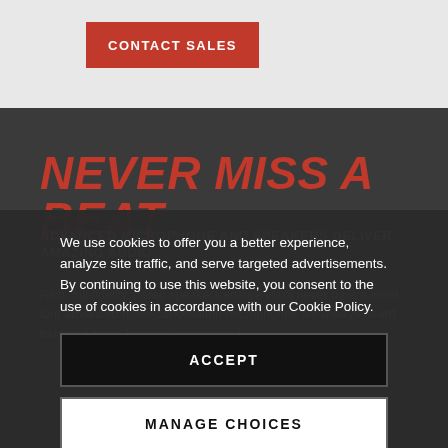CONTACT SALES
NEVER MISS A BEAT
ADVANCED MICROPHONE AND SPEAKERS DELIVER AMAZING AUDIO
Rich, full-fidelity stereo speakers ensure you'll never miss a word. Our advanced noise-cancellation microphones are always heard loud and clear. No shouting required.
We use cookies to offer you a better experience, analyze site traffic, and serve targeted advertisements. By continuing to use this website, you consent to the use of cookies in accordance with our Cookie Policy.
ACCEPT
MANAGE CHOICES